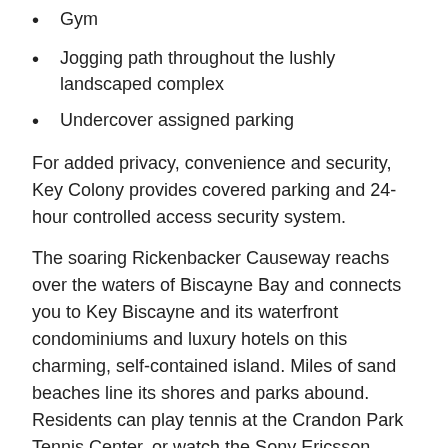Gym
Jogging path throughout the lushly landscaped complex
Undercover assigned parking
For added privacy, convenience and security, Key Colony provides covered parking and 24-hour controlled access security system.
The soaring Rickenbacker Causeway reachs over the waters of Biscayne Bay and connects you to Key Biscayne and its waterfront condominiums and luxury hotels on this charming, self-contained island. Miles of sand beaches line its shores and parks abound. Residents can play tennis at the Crandon Park Tennis Center, or watch the Sony Ericsson Open tournament each March, featuring the world's top-ranked tennis players. Playing a round at Crandon Park Golf Course's challenging layout will let you understand why Golf